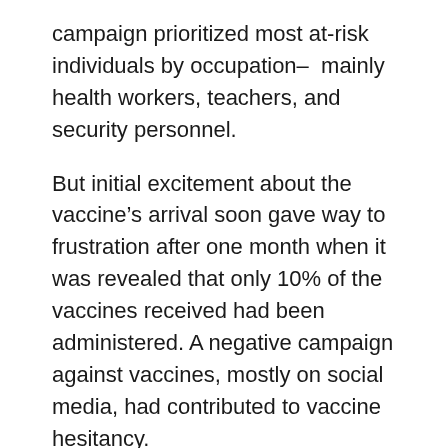campaign prioritized most at-risk individuals by occupation— mainly health workers, teachers, and security personnel.
But initial excitement about the vaccine's arrival soon gave way to frustration after one month when it was revealed that only 10% of the vaccines received had been administered. A negative campaign against vaccines, mostly on social media, had contributed to vaccine hesitancy.
“I heard on the radio and read on social media that these vaccines are not good and the people that get them would die,” says Aggrey Babise, 41-year-old nurse in Buyende District.
Aggrey held back as he watched co-workers get